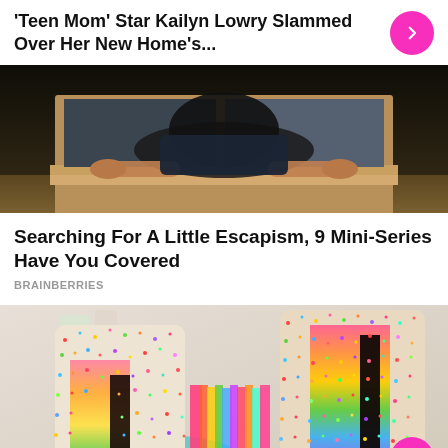'Teen Mom' Star Kailyn Lowry Slammed Over Her New Home's...
[Figure (photo): Person crouching and looking through a window frame in a dark room]
Searching For A Little Escapism, 9 Mini-Series Have You Covered
BRAINBERRIES
[Figure (photo): Colorful rainbow layered cakes covered in sprinkles, sliced open to reveal multicolored layers]